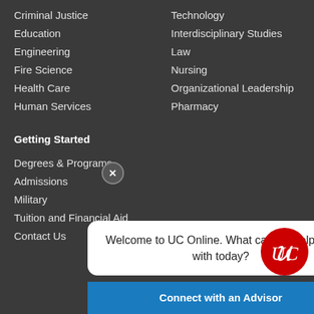Criminal Justice
Education
Engineering
Fire Science
Health Care
Human Services
Technology
Interdisciplinary Studies
Law
Nursing
Organizational Leadership
Pharmacy
Getting Started
Degrees & Programs
Admissions
Military
Tuition and Financial Aid
Contact Us
Welcome to UC Online. What can we help you with today?
Connect with an Advisor